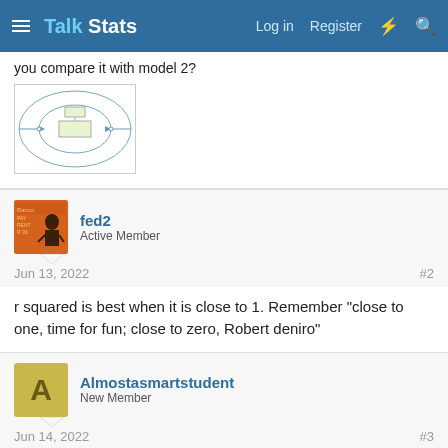Talk Stats — Log in  Register
you compare it with model 2?
[Figure (engineering-diagram): Structural equation model diagram with ellipses and rectangles connected by arrows]
fed2
Active Member
Jun 13, 2022   #2
r squared is best when it is close to 1. Remember "close to one, time for fun; close to zero, Robert deniro"
Almostasmartstudent
New Member
Jun 14, 2022   #3
Thank you for your reaction, but that is no answer on my